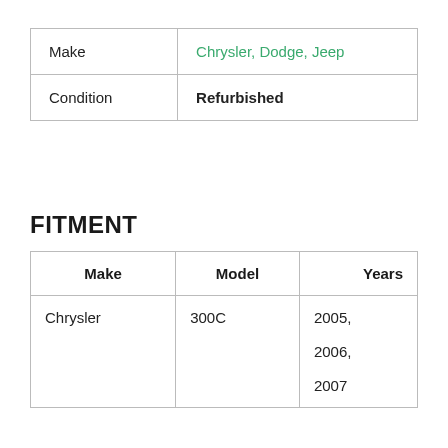| Make |  |
| --- | --- |
| Make | Chrysler, Dodge, Jeep |
| Condition | Refurbished |
FITMENT
| Make | Model | Years |
| --- | --- | --- |
| Chrysler | 300C | 2005, 2006, 2007 |